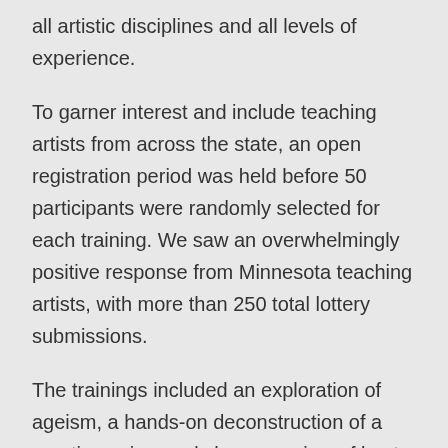all artistic disciplines and all levels of experience.
To garner interest and include teaching artists from across the state, an open registration period was held before 50 participants were randomly selected for each training. We saw an overwhelmingly positive response from Minnesota teaching artists, with more than 250 total lottery submissions.
The trainings included an exploration of ageism, a hands-on deconstruction of a creative aging workshop, a review of best